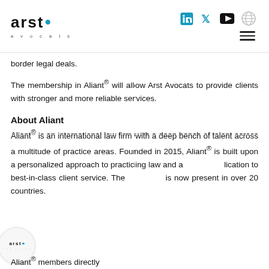arst. avocats — logo and navigation header
border legal deals.
The membership in Aliant® will allow Arst Avocats to provide clients with stronger and more reliable services.
About Aliant
Aliant® is an international law firm with a deep bench of talent across a multitude of practice areas. Founded in 2015, Aliant® is built upon a personalized approach to practicing law and a dedication to best-in-class client service. The firm is now present in over 20 countries.
Aliant® members directly...